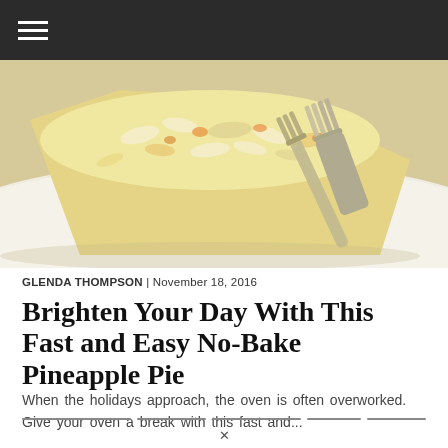[Figure (photo): Close-up photo of a slice of no-bake pineapple pie with coconut topping on a plate, with a fork lifting a piece]
GLENDA THOMPSON | November 18, 2016
Brighten Your Day With This Fast and Easy No-Bake Pineapple Pie
When the holidays approach, the oven is often overworked. Give your oven a break with this fast and...